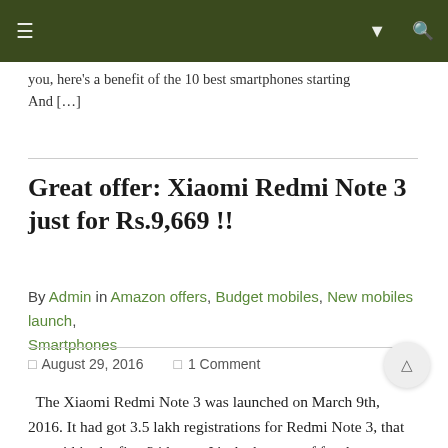Navigation bar with menu icons
you, here's a benefit of the 10 best smartphones starting And […]
Great offer: Xiaomi Redmi Note 3 just for Rs.9,669 !!
By Admin in Amazon offers, Budget mobiles, New mobiles launch, Smartphones
August 29, 2016   1 Comment
The Xiaomi Redmi Note 3 was launched on March 9th, 2016. It had got 3.5 lakh registrations for Redmi Note 3, that too within the first 24 hours. It's the best proof for the trust and interest on Xiaomi products.  Own your Xiaomi